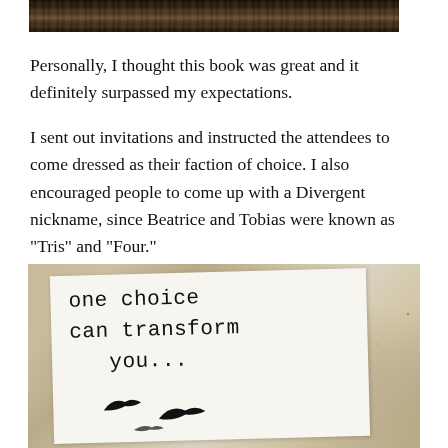[Figure (photo): Top portion of a photo showing a dark bookshelf or books, partially cropped]
Personally, I thought this book was great and it definitely surpassed my expectations.
I sent out invitations and instructed the attendees to come dressed as their faction of choice. I also encouraged people to come up with a Divergent nickname, since Beatrice and Tobias were known as "Tris" and "Four."
[Figure (photo): A handwritten note on white paper placed on a granite countertop. The note reads: 'one choice can transform you...' with two bird silhouettes drawn below.]